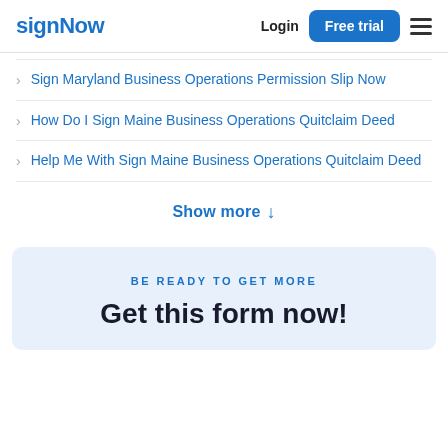signNow | Login | Free trial
Sign Maryland Business Operations Permission Slip Now
How Do I Sign Maine Business Operations Quitclaim Deed
Help Me With Sign Maine Business Operations Quitclaim Deed
Show more ↓
BE READY TO GET MORE
Get this form now!